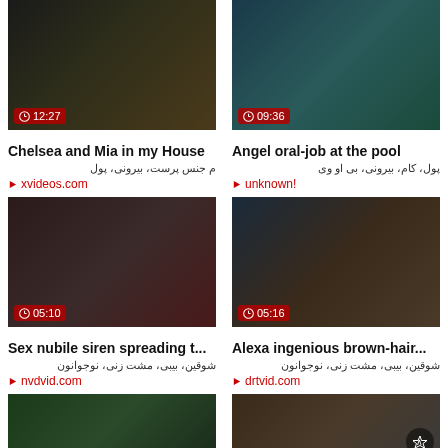[Figure (screenshot): Video thumbnail 1: Chelsea and Mia in my House, duration 12:27]
Chelsea and Mia in my House
م جنس پرست، بیرونی، پول
xvideos.com
[Figure (screenshot): Video thumbnail 2: Angel oral-job at the pool, duration 09:36]
Angel oral-job at the pool
پول، کام، بیرونی، بی او وی
unknown!
[Figure (screenshot): Video thumbnail 3: Sex nubile siren spreading t..., duration 05:10]
Sex nubile siren spreading t...
شوقین، بیبی، مشت زنی، نوجوانون
nvdvid.com
[Figure (screenshot): Video thumbnail 4: Alexa ingenious brown-hair..., duration 05:16]
Alexa ingenious brown-hair...
شوقین، بیبی، مشت زنی، نوجوانون
drtvid.com
[Figure (screenshot): Video thumbnail 5: partial view at bottom left]
[Figure (screenshot): Video thumbnail 6: partial view at bottom right]